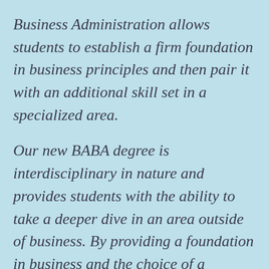Business Administration allows students to establish a firm foundation in business principles and then pair it with an additional skill set in a specialized area.
Our new BABA degree is interdisciplinary in nature and provides students with the ability to take a deeper dive in an area outside of business. By providing a foundation in business and the choice of a specialized focus, the BABA degree allows greater flexibility to customize your education to match your individual goals and interests.